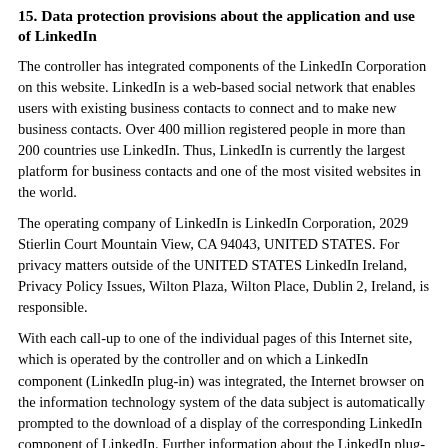15. Data protection provisions about the application and use of LinkedIn
The controller has integrated components of the LinkedIn Corporation on this website. LinkedIn is a web-based social network that enables users with existing business contacts to connect and to make new business contacts. Over 400 million registered people in more than 200 countries use LinkedIn. Thus, LinkedIn is currently the largest platform for business contacts and one of the most visited websites in the world.
The operating company of LinkedIn is LinkedIn Corporation, 2029 Stierlin Court Mountain View, CA 94043, UNITED STATES. For privacy matters outside of the UNITED STATES LinkedIn Ireland, Privacy Policy Issues, Wilton Plaza, Wilton Place, Dublin 2, Ireland, is responsible.
With each call-up to one of the individual pages of this Internet site, which is operated by the controller and on which a LinkedIn component (LinkedIn plug-in) was integrated, the Internet browser on the information technology system of the data subject is automatically prompted to the download of a display of the corresponding LinkedIn component of LinkedIn. Further information about the LinkedIn plug-in may be accessed under https://developer.linkedin.com/plugins. During the course of this technical procedure, LinkedIn gains knowledge of what specific